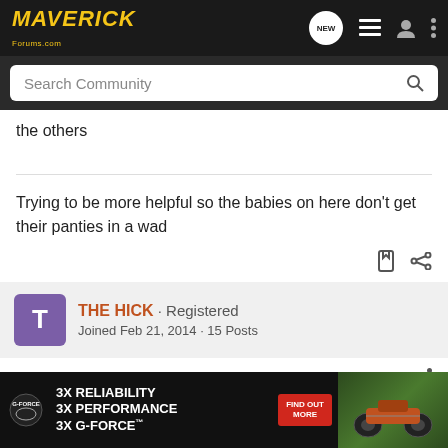MAVERICK Forums — navigation bar with logo, NEW badge, menu icons
Search Community
the others
Trying to be more helpful so the babies on here don't get their panties in a wad
THE HICK · Registered
Joined Feb 21, 2014 · 15 Posts
#10 · Apr 8, 2014
They do                                                                    help you with
[Figure (screenshot): G-Force advertisement banner: 3X RELIABILITY, 3X PERFORMANCE, 3X G-FORCE with FIND OUT MORE button and ATV image]